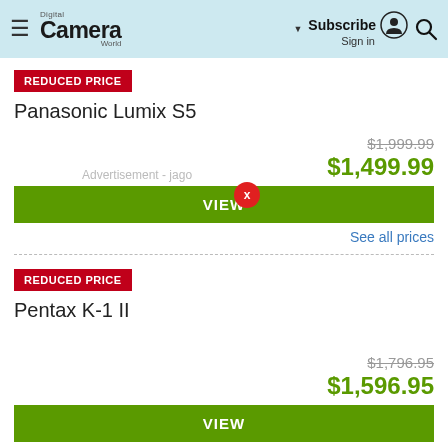Digital Camera World — Subscribe Sign in [search]
REDUCED PRICE
Panasonic Lumix S5
$1,999.99 (strikethrough) $1,499.99
VIEW
See all prices
REDUCED PRICE
Pentax K-1 II
$1,796.95 (strikethrough) $1,596.95
VIEW